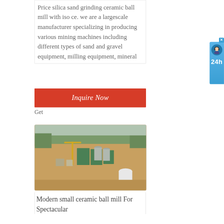Price silica sand grinding ceramic ball mill with iso ce. we are a largescale manufacturer specializing in producing various mining machines including different types of sand and gravel equipment, milling equipment, mineral
[Figure (other): Red 'Inquire Now' button overlay on text box]
Get
[Figure (photo): Aerial view of a mining and processing facility with green industrial buildings, storage tanks, yellow crane, and orange/brown earth terrain surrounded by trees]
Modern small ceramic ball mill For Spectacular
[Figure (other): Blue sidebar widget with X close button, avatar icon with headset, and '24h' text label]